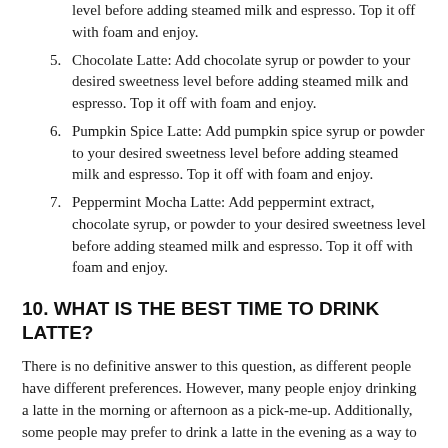level before adding steamed milk and espresso. Top it off with foam and enjoy.
5. Chocolate Latte: Add chocolate syrup or powder to your desired sweetness level before adding steamed milk and espresso. Top it off with foam and enjoy.
6. Pumpkin Spice Latte: Add pumpkin spice syrup or powder to your desired sweetness level before adding steamed milk and espresso. Top it off with foam and enjoy.
7. Peppermint Mocha Latte: Add peppermint extract, chocolate syrup, or powder to your desired sweetness level before adding steamed milk and espresso. Top it off with foam and enjoy.
10. WHAT IS THE BEST TIME TO DRINK LATTE?
There is no definitive answer to this question, as different people have different preferences. However, many people enjoy drinking a latte in the morning or afternoon as a pick-me-up. Additionally, some people may prefer to drink a latte in the evening as a way to unwind before bed. Ultimately, you'll want to experiment and find the time of day that